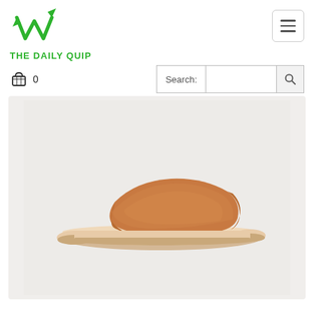[Figure (logo): The Daily Quip logo: a green W shape with arrows, above the text THE DAILY QUIP in green bold capitals]
[Figure (other): Hamburger menu button (three horizontal lines) in a rounded rectangle border]
[Figure (other): Shopping cart icon with number 0]
[Figure (other): Search input field with label 'Search:' and a magnifying glass button]
[Figure (photo): A tan/caramel leather slide sandal with a wide strap, flat sole, photographed in profile on a light grey background]